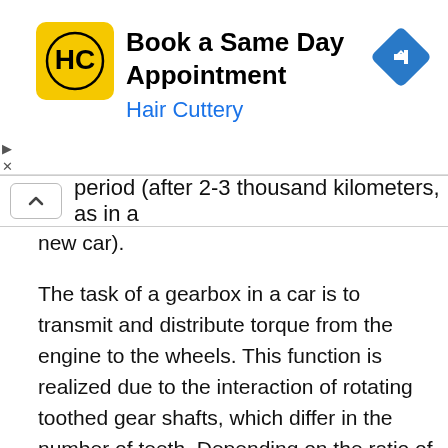[Figure (other): Hair Cuttery advertisement banner with HC logo, text 'Book a Same Day Appointment', 'Hair Cuttery', and a blue navigation arrow icon]
period (after 2-3 thousand kilometers, as in a new car).
The task of a gearbox in a car is to transmit and distribute torque from the engine to the wheels. This function is realized due to the interaction of rotating toothed gear shafts, which differ in the number of teeth. Depending on the ratio of the number of teeth in the gears, the gearbox can either lower or higher torque, depending on the design features of the car.
Obviously, the constant interaction of metal elements in the absence of lubrication would be